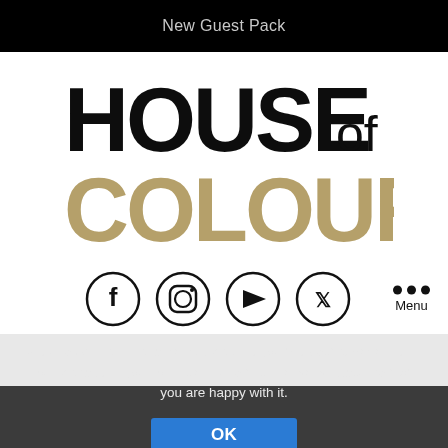New Guest Pack
[Figure (logo): House of Colour logo — HOUSE in large black bold letters with OF in smaller normal weight, COLOUR in large gold/tan bold letters below]
[Figure (infographic): Social media icons in circles: Facebook, Instagram, YouTube, Twitter; and a three-dot menu button labeled Menu on the right]
We use cookies to ensure that we give you the best experience on our website. If you continue to use this site we will assume that you are happy with it.
OK
PRIVACY POLICY